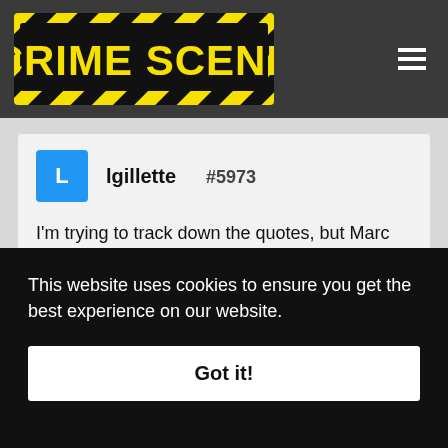CRIME SCENE
lgillette  #5973

I'm trying to track down the quotes, but Marc said he had lost his pin/badge about a week before the murder. That goes to your point, daroo, that he was set up. (Or...I might have the whole thing wrong! lol)
This website uses cookies to ensure you get the best experience on our website.
Got it!